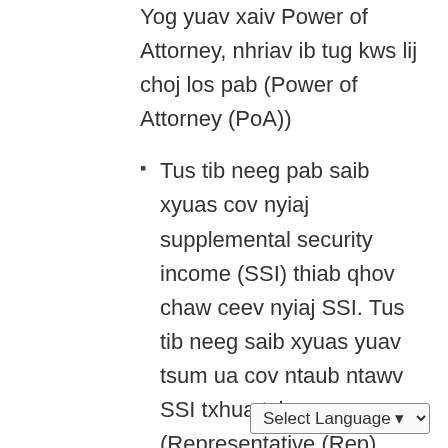Yog yuav xaiv Power of Attorney, nhriav ib tug kws lij choj los pab (Power of Attorney (PoA))
Tus tib neeg pab saib xyuas cov nyiaj supplemental security income (SSI) thiab qhov chaw ceev nyiaj SSI. Tus tib neeg saib xyuas yuav tsum ua cov ntaub ntawv SSI txhua txhua xyoo (Representative (Rep) Payee)
Qhov chaws ceev nyiaj tsis cuam tshuam nyiaj SSI los lwm yam kev pab ntawm lub zos thiab tsoom fwv (Supplemental/Special Needs...